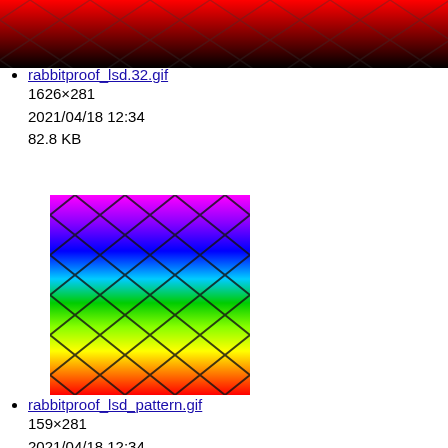[Figure (photo): Top strip: rainbow/red gradient diamond wire fence pattern image, cropped horizontally]
rabbitproof_lsd.32.gif
1626×281
2021/04/18 12:34
82.8 KB
[Figure (photo): Full rainbow gradient vertical image with diamond wire fence pattern overlay, colors from magenta/purple at top through blue, cyan, green, yellow-green, yellow, orange, to red at bottom]
rabbitproof_lsd_pattern.gif
159×281
2021/04/18 12:34